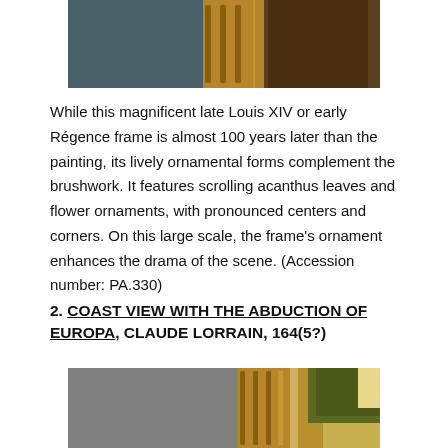[Figure (photo): Close-up photograph of an ornate gilded picture frame, showing scrolling acanthus leaf ornamental details in gold against a dark background, with painting visible inside.]
While this magnificent late Louis XIV or early Régence frame is almost 100 years later than the painting, its lively ornamental forms complement the brushwork. It features scrolling acanthus leaves and flower ornaments, with pronounced centers and corners. On this large scale, the frame's ornament enhances the drama of the scene. (Accession number: PA.330)
2. COAST VIEW WITH THE ABDUCTION OF EUROPA, CLAUDE LORRAIN, 164(5?)
[Figure (photo): Photograph showing the gilded ornamental frame of the painting 'Coast View with the Abduction of Europa' by Claude Lorrain, with lush trees visible in the painting background.]